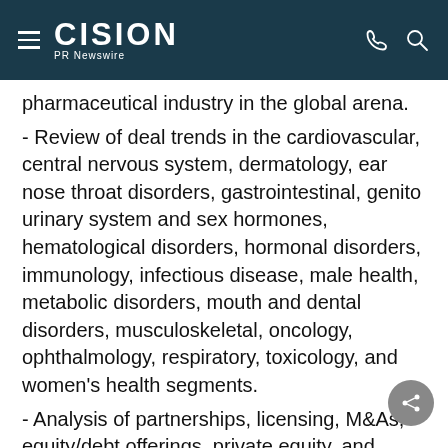CISION PR Newswire
pharmaceutical industry in the global arena.
- Review of deal trends in the cardiovascular, central nervous system, dermatology, ear nose throat disorders, gastrointestinal, genito urinary system and sex hormones, hematological disorders, hormonal disorders, immunology, infectious disease, male health, metabolic disorders, mouth and dental disorders, musculoskeletal, oncology, ophthalmology, respiratory, toxicology, and women's health segments.
- Analysis of partnerships, licensing, M&As, equity/debt offerings, private equity, and venture financing deals in the pharmaceutical industry.
- Analysis of the revenues which are generating in